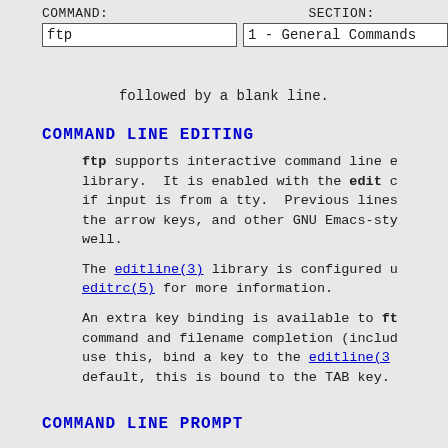COMMAND: ftp   SECTION: 1 - General Commands
followed by a blank line.
COMMAND LINE EDITING
ftp supports interactive command line editing via the editline(3) library. It is enabled with the edit command, if input is from a tty. Previous lines may be accessed with the arrow keys, and other GNU Emacs-style commands as well.
The editline(3) library is configured using the file editrc(5) for more information.
An extra key binding is available to ftp for command and filename completion (including ...). To use this, bind a key to the editline(3) ... function. By default, this is bound to the TAB key.
COMMAND LINE PROMPT